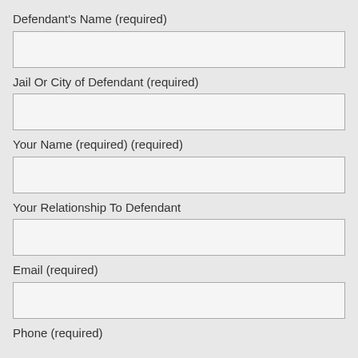Defendant's Name (required)
Jail Or City of Defendant (required)
Your Name (required) (required)
Your Relationship To Defendant
Email (required)
Phone (required)